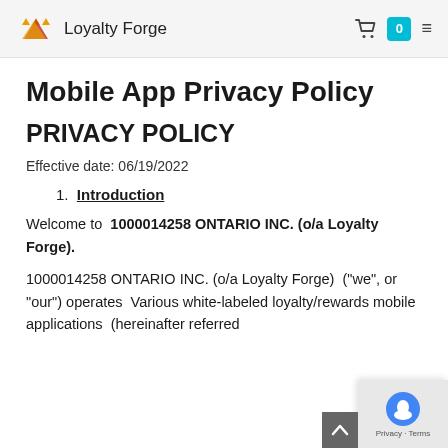Loyalty Forge
Mobile App Privacy Policy
PRIVACY POLICY
Effective date: 06/19/2022
1. Introduction
Welcome to  1000014258 ONTARIO INC. (o/a Loyalty Forge).
1000014258 ONTARIO INC. (o/a Loyalty Forge)  ("we", or "our") operates  Various white-labeled loyalty/rewards mobile applications  (hereinafter referred